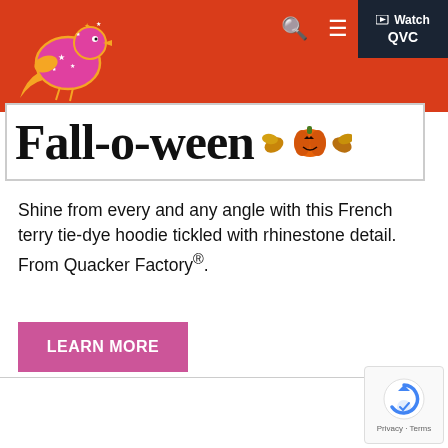[Figure (logo): Quacker Factory logo: a stylized pink/orange duck or bird with stars on red background]
[Figure (logo): Watch QVC dark button with play icon in top right corner of header]
[Figure (illustration): Fall-o-ween banner with large serif text and autumn/halloween decorations including pumpkin and leaves]
Shine from every and any angle with this French terry tie-dye hoodie tickled with rhinestone detail. From Quacker Factory®.
[Figure (other): LEARN MORE pink button]
[Figure (other): Google reCAPTCHA badge with Privacy and Terms links]